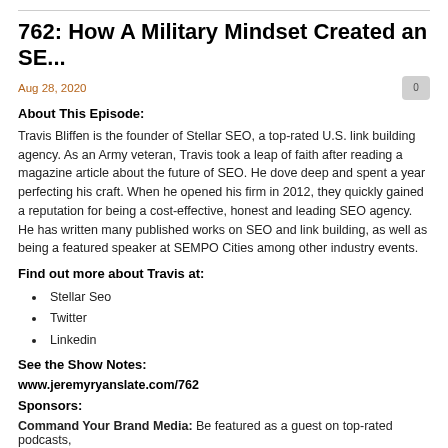762: How A Military Mindset Created an SE...
Aug 28, 2020
About This Episode:
Travis Bliffen is the founder of Stellar SEO, a top-rated U.S. link building agency. As an Army veteran, Travis took a leap of faith after reading a magazine article about the future of SEO. He dove deep and spent a year perfecting his craft. When he opened his firm in 2012, they quickly gained a reputation for being a cost-effective, honest and leading SEO agency. He has written many published works on SEO and link building, as well as being a featured speaker at SEMPO Cities among other industry events.
Find out more about Travis at:
Stellar Seo
Twitter
Linkedin
See the Show Notes:
www.jeremyryanslate.com/762
Sponsors:
Command Your Brand Media: Be featured as a guest on top-rated podcasts,